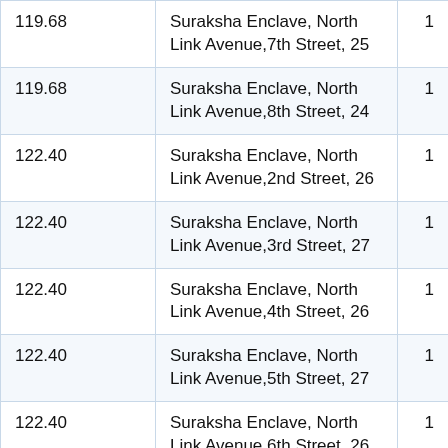| 119.68 | Suraksha Enclave, North Link Avenue,7th Street, 25 | 1 |
| 119.68 | Suraksha Enclave, North Link Avenue,8th Street, 24 | 1 |
| 122.40 | Suraksha Enclave, North Link Avenue,2nd Street, 26 | 1 |
| 122.40 | Suraksha Enclave, North Link Avenue,3rd Street, 27 | 1 |
| 122.40 | Suraksha Enclave, North Link Avenue,4th Street, 26 | 1 |
| 122.40 | Suraksha Enclave, North Link Avenue,5th Street, 27 | 1 |
| 122.40 | Suraksha Enclave, North Link Avenue,6th Street, 26 | 1 |
| 122.40 | Suraksha Enclave, North Link Avenue,7th Street, 27 | 1 |
| 122.40 | Suraksha Enclave, North Link Avenue | 1 |